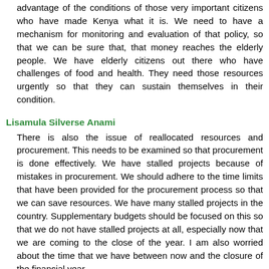advantage of the conditions of those very important citizens who have made Kenya what it is. We need to have a mechanism for monitoring and evaluation of that policy, so that we can be sure that, that money reaches the elderly people. We have elderly citizens out there who have challenges of food and health. They need those resources urgently so that they can sustain themselves in their condition.
Lisamula Silverse Anami
There is also the issue of reallocated resources and procurement. This needs to be examined so that procurement is done effectively. We have stalled projects because of mistakes in procurement. We should adhere to the time limits that have been provided for the procurement process so that we can save resources. We have many stalled projects in the country. Supplementary budgets should be focused on this so that we do not have stalled projects at all, especially now that we are coming to the close of the year. I am also worried about the time that we have between now and the closure of the financial year.
Lisamula Silverse Anami
I recall Hon. Mulu's sentiments that we need a mechanism that will guarantee that during the time left, we can have a rapid